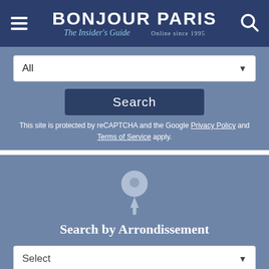BONJOUR PARIS The Insider's Guide Online since 1995
[Figure (screenshot): Dropdown selector showing 'All' with a search button and reCAPTCHA notice]
This site is protected by reCAPTCHA and the Google Privacy Policy and Terms of Service apply.
[Figure (illustration): Push pin / thumbtack icon]
Search by Arrondissement
[Figure (screenshot): Dropdown selector showing 'Select' placeholder]
This site is protected by reCAPTCHA and the Google Privacy Policy and Terms of Service apply.